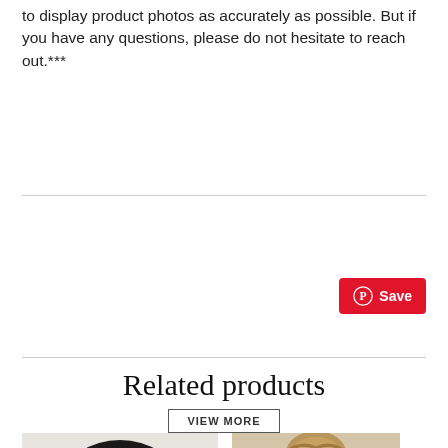to display product photos as accurately as possible. But if you have any questions, please do not hesitate to reach out.***
[Figure (screenshot): Red Pinterest Save button with Pinterest circle logo icon, white text 'Save']
Related products
VIEW MORE
[Figure (photo): Black knit beanie hat with Jaguars patch on a white fluffy surface, with ONE CRAZY label tag visible at bottom]
[Figure (photo): Woman with blonde hair in a bun from behind, wearing a hat]